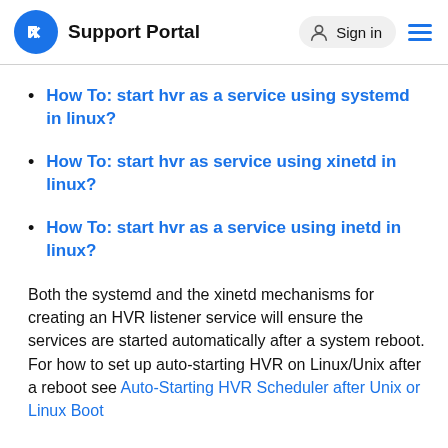Support Portal  Sign in
How To: start hvr as a service using systemd in linux?
How To: start hvr as service using xinetd in linux?
How To: start hvr as a service using inetd in linux?
Both the systemd and the xinetd mechanisms for creating an HVR listener service will ensure the services are started automatically after a system reboot. For how to set up auto-starting HVR on Linux/Unix after a reboot see Auto-Starting HVR Scheduler after Unix or Linux Boot